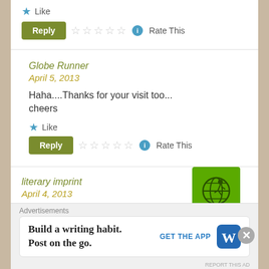★ Like
Reply  ☆☆☆☆☆ ℹ Rate This
Globe Runner
April 5, 2013
[Figure (illustration): Green square avatar with a globe and runner logo]
Haha....Thanks for your visit too...
cheers
★ Like
Reply  ☆☆☆☆☆ ℹ Rate This
literary imprint
April 4, 2013
[Figure (illustration): Dark blue circular avatar with letter B]
Advertisements
Build a writing habit.
Post on the go.
GET THE APP
[Figure (logo): WordPress logo - W on blue rounded square]